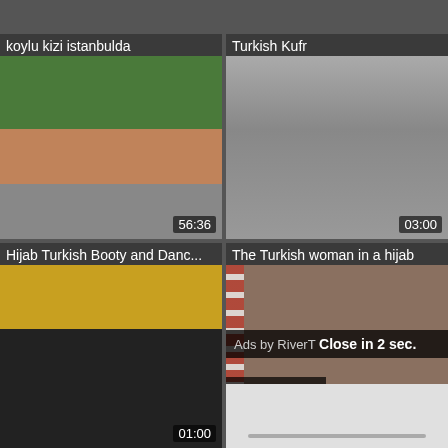[Figure (screenshot): Video thumbnail grid showing 4 video thumbnails with titles and durations]
koylu kizi istanbulda
56:36
Turkish Kufr
03:00
Hijab Turkish Booty and Danc...
01:00
The Turkish woman in a hijab
Ads by RiverT Close in 2 sec.